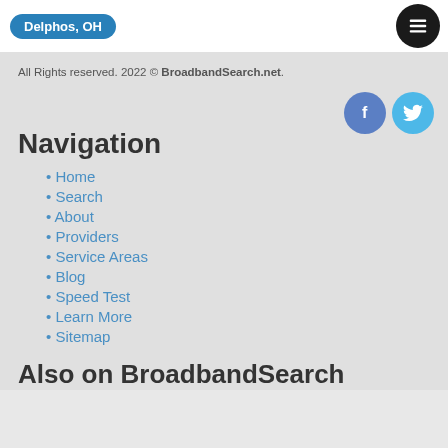Delphos, OH
All Rights reserved. 2022 © BroadbandSearch.net.
[Figure (illustration): Social media icons: Facebook (blue circle with f) and Twitter (light blue circle with bird icon)]
Navigation
Home
Search
About
Providers
Service Areas
Blog
Speed Test
Learn More
Sitemap
Also on BroadbandSearch